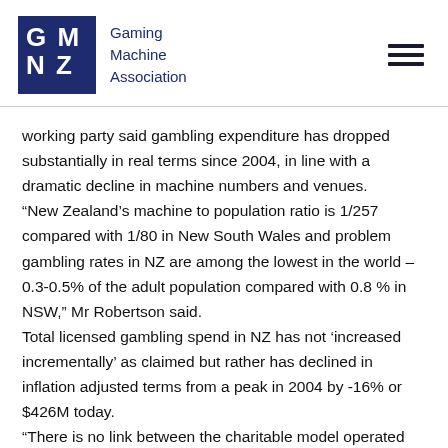Gaming Machine Association NZ
working party said gambling expenditure has dropped substantially in real terms since 2004, in line with a dramatic decline in machine numbers and venues.
“New Zealand’s machine to population ratio is 1/257 compared with 1/80 in New South Wales and problem gambling rates in NZ are among the lowest in the world – 0.3-0.5% of the adult population compared with 0.8 % in NSW,” Mr Robertson said.
Total licensed gambling spend in NZ has not ‘increased incrementally’ as claimed but rather has declined in inflation adjusted terms from a peak in 2004 by -16% or $426M today.
“There is no link between the charitable model operated